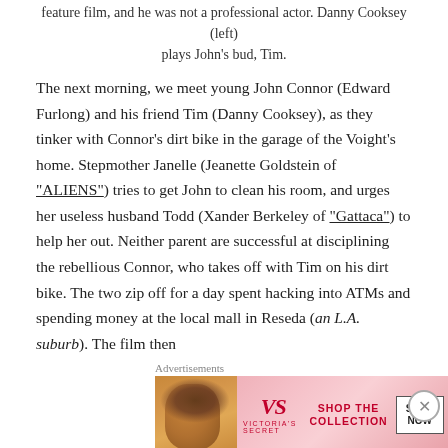feature film, and he was not a professional actor. Danny Cooksey (left) plays John's bud, Tim.
The next morning, we meet young John Connor (Edward Furlong) and his friend Tim (Danny Cooksey), as they tinker with Connor's dirt bike in the garage of the Voight's home. Stepmother Janelle (Jeanette Goldstein of "ALIENS") tries to get John to clean his room, and urges her useless husband Todd (Xander Berkeley of "Gattaca") to help her out. Neither parent are successful at disciplining the rebellious Connor, who takes off with Tim on his dirt bike. The two zip off for a day spent hacking into ATMs and spending money at the local mall in Reseda (an L.A. suburb). The film then
Advertisements
[Figure (photo): Victoria's Secret advertisement banner with a model and 'SHOP THE COLLECTION' text with a 'SHOP NOW' button]